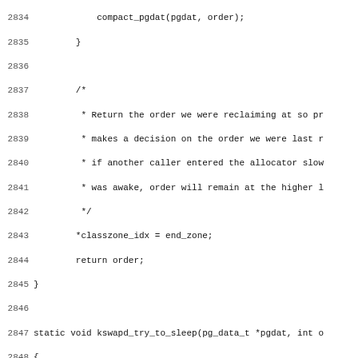[Figure (screenshot): Source code listing showing C kernel code for kswapd memory management functions, lines 2834-2866, including compact_pgdat call, comment about returning order, classzone_idx assignment, return order, closing brace, kswapd_try_to_sleep function definition with local variables, freezing check, prepare_to_wait call, short sleep interval with prepare_kswapd_sleep, schedule_timeout, finish_wait, prepare_to_wait, and comment about checking premature wakeup.]